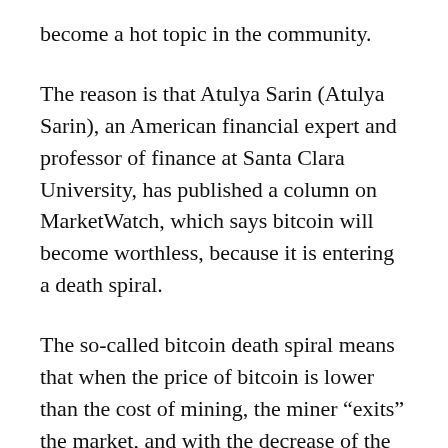become a hot topic in the community.
The reason is that Atulya Sarin (Atulya Sarin), an American financial expert and professor of finance at Santa Clara University, has published a column on MarketWatch, which says bitcoin will become worthless, because it is entering a death spiral.
The so-called bitcoin death spiral means that when the price of bitcoin is lower than the cost of mining, the miner “exits” the market, and with the decrease of the cost of mining, the price of bitcoin will continue to decline, which will cause a large number of investors to sell short bitcoin in the futures market,